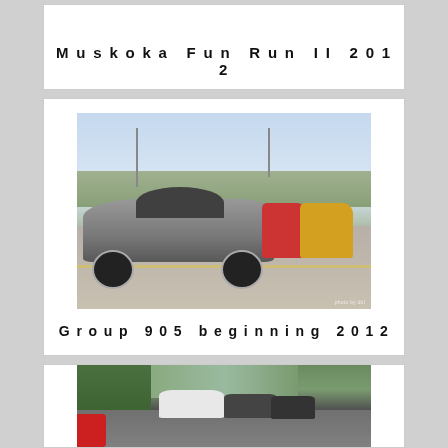Muskoka Fun Run II 2012
[Figure (photo): A line of Porsche sports cars parked in a parking lot, with a grey Boxster in foreground and colorful cars behind, suburban commercial background]
Group 905 beginning 2012
[Figure (photo): A group of sports cars on a tree-lined road, partially visible at bottom of page]